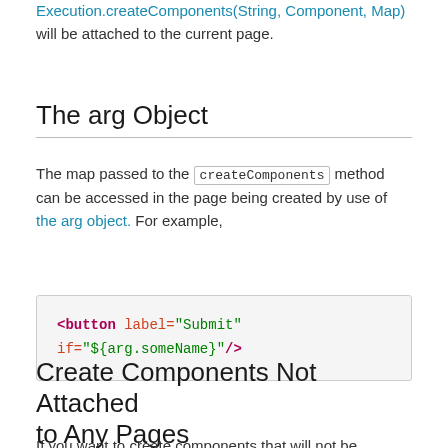Execution.createComponents(String, Component, Map) will be attached to the current page.
The arg Object
The map passed to the createComponents method can be accessed in the page being created by use of the arg object. For example,
<button label="Submit"
if="${arg.someName}"/>
Create Components Not Attached to Any Pages
If you want to create components that will not be attached to a page, you could use Execution.createComponents(String,